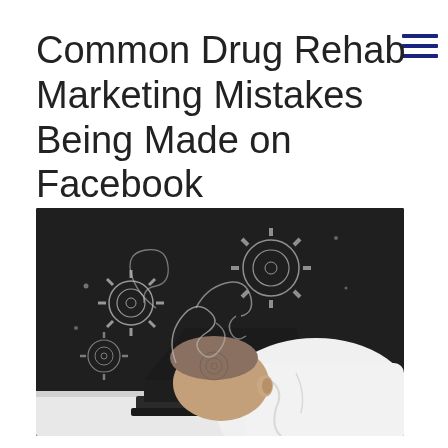Common Drug Rehab Marketing Mistakes Being Made on Facebook
[Figure (photo): A person in a white shirt resting their head face-down on a laptop keyboard against a dark chalkboard background, with swirling chalk drawings of gears and flourishes above their head, suggesting mental overload or frustration.]